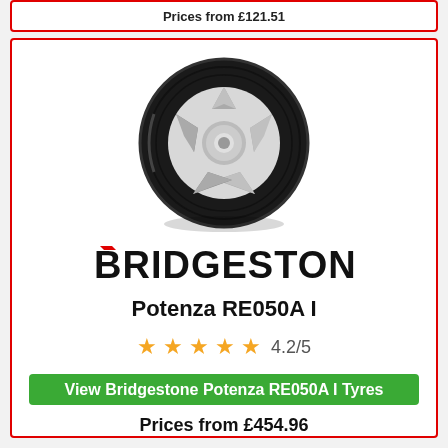Prices from £121.51
[Figure (photo): Bridgestone Potenza RE050A I tyre product photo showing a dark performance tyre with silver alloy wheel]
[Figure (logo): Bridgestone logo in bold black lettering with red diagonal slash on the B]
Potenza RE050A I
4.2/5
View Bridgestone Potenza RE050A I Tyres
Prices from £454.96